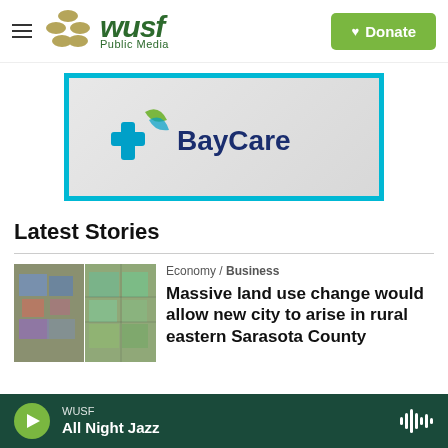WUSF Public Media
[Figure (logo): BayCare logo advertisement with cyan border on light gray background]
Latest Stories
[Figure (photo): Aerial map image showing land parcels in Sarasota County with colored zones]
Economy / Business
Massive land use change would allow new city to arise in rural eastern Sarasota County
WUSF All Night Jazz